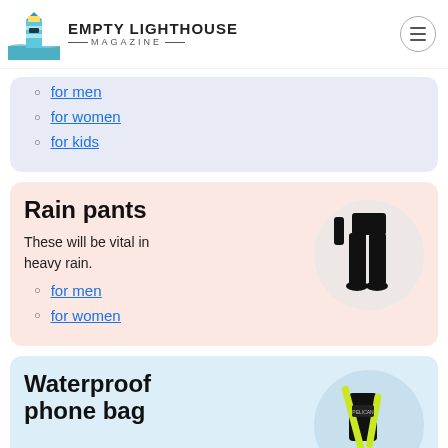EMPTY LIGHTHOUSE MAGAZINE
for men
for women
for kids
Rain pants
These will be vital in heavy rain.
[Figure (photo): Person wearing black rain pants standing, shown from waist down]
for men
for women
Waterproof phone bag
[Figure (photo): Black waterproof phone bag with yellow-green strap]